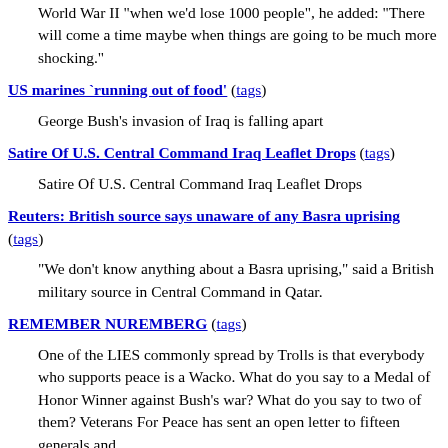World War II "when we'd lose 1000 people", he added: "There will come a time maybe when things are going to be much more shocking."
US marines `running out of food' (tags)
George Bush's invasion of Iraq is falling apart
Satire Of U.S. Central Command Iraq Leaflet Drops (tags)
Satire Of U.S. Central Command Iraq Leaflet Drops
Reuters: British source says unaware of any Basra uprising (tags)
"We don't know anything about a Basra uprising," said a British military source in Central Command in Qatar.
REMEMBER NUREMBERG (tags)
One of the LIES commonly spread by Trolls is that everybody who supports peace is a Wacko. What do you say to a Medal of Honor Winner against Bush's war? What do you say to two of them? Veterans For Peace has sent an open letter to fifteen generals and